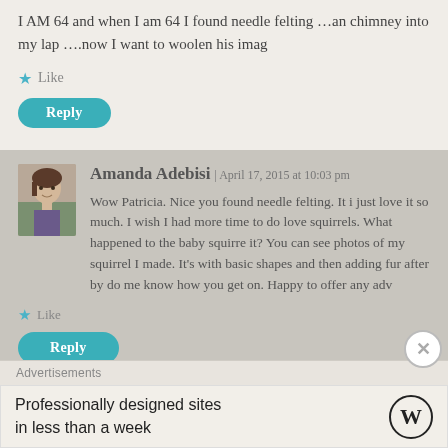I AM 64 and when I am 64 I found needle felting …an chimney into my lap ….now I want to woolen his imag
★ Like
Reply
Amanda Adebisi | April 17, 2015 at 10:03 pm
Wow Patricia. Nice you found needle felting. It i just love it so much. I wish I had more time to do love squirrels. What happened to the baby squirre it? You can see photos of my squirrel I made. It's with basic shapes and then adding fur after by do me know how you get on. Happy to offer any adv
★ Like
Reply
Advertisements
Professionally designed sites in less than a week